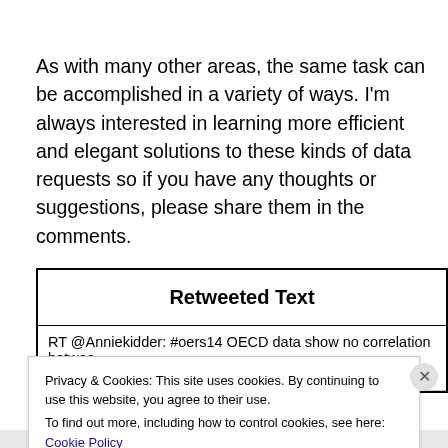As with many other areas, the same task can be accomplished in a variety of ways.  I'm always interested in learning more efficient and elegant solutions to these kinds of data requests so if you have any thoughts or suggestions, please share them in the comments.
| Retweeted Text |
| --- |
| RT @Anniekidder: #oers14 OECD data show no correlation between performance  Quality not quantity  #OptEd |
Privacy & Cookies: This site uses cookies. By continuing to use this website, you agree to their use.
To find out more, including how to control cookies, see here: Cookie Policy